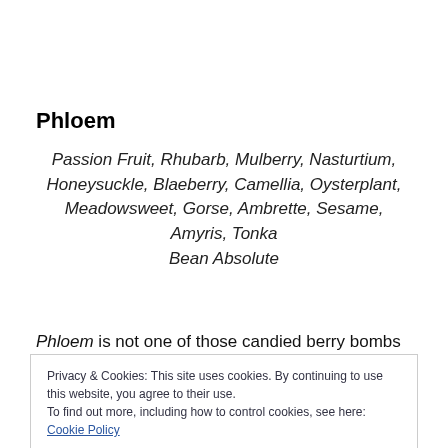Phloem
Passion Fruit, Rhubarb, Mulberry, Nasturtium, Honeysuckle, Blaeberry, Camellia, Oysterplant, Meadowsweet, Gorse, Ambrette, Sesame, Amyris, Tonka Bean Absolute
Phloem is not one of those candied berry bombs we are
Privacy & Cookies: This site uses cookies. By continuing to use this website, you agree to their use.
To find out more, including how to control cookies, see here: Cookie Policy
Close and accept